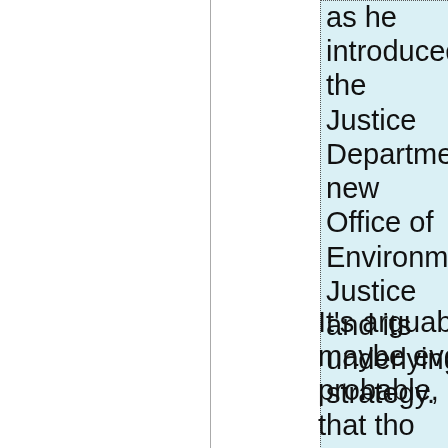as he introduced the Justice Department's new Office of Environmental Justice and its underlying strategy.
It's arguable, maybe even probable, that tho